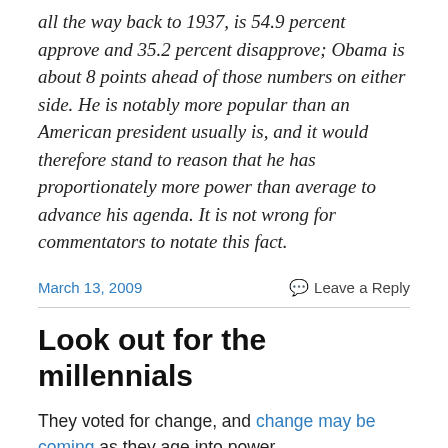all the way back to 1937, is 54.9 percent approve and 35.2 percent disapprove; Obama is about 8 points ahead of those numbers on either side. He is notably more popular than an American president usually is, and it would therefore stand to reason that he has proportionately more power than average to advance his agenda. It is not wrong for commentators to notate this fact.
March 13, 2009   Leave a Reply
Look out for the millennials
They voted for change, and change may be coming as they age into power.
From the link: